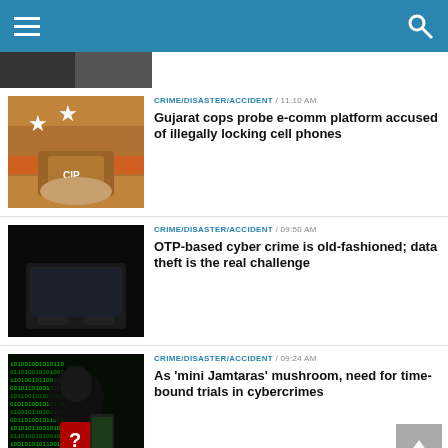Navigation bar with hamburger menu and search icon
[Figure (photo): Partial top image strip]
CRIME/DISASTER/ACCIDENT / 11:10 AM
Gujarat cops probe e-comm platform accused of illegally locking cell phones
[Figure (photo): Hands holding a phone with military badge]
CRIME/DISASTER/ACCIDENT / 09:50 AM
OTP-based cyber crime is old-fashioned; data theft is the real challenge
[Figure (photo): Person in black gloves using a laptop in the dark]
CRIME/DISASTER/ACCIDENT / 09:24 AM
As 'mini Jamtaras' mushroom, need for time-bound trials in cybercrimes
[Figure (photo): Hooded hacker figure with binary code and smartphone]
GENERAL / 09:00 AM
[Figure (photo): Partial bottom image]